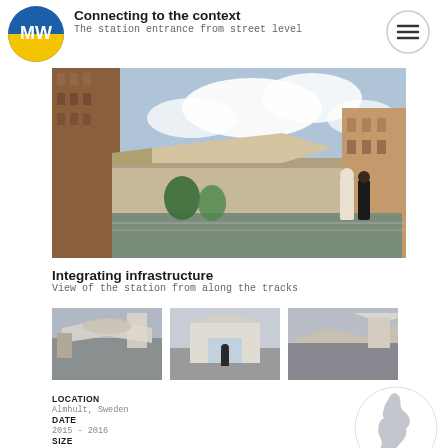[Figure (logo): MW logo circle with blue and yellow design]
Connecting to the context
The station entrance from street level
[Figure (photo): Architectural rendering of a station area viewed from elevated position, showing brick buildings, a covered station structure, open plaza with people, and two figures in foreground looking over the scene]
Integrating infrastructure
View of the station from along the tracks
[Figure (photo): Aerial view rendering of station and surrounding urban development]
[Figure (photo): Ground-level rendering of station entrance with person walking]
[Figure (photo): Aerial view rendering of station area showing roof structures]
LOCATION
Almhult, Sweden
DATE
2015 - 2016
SIZE
[Figure (map): Circular map showing outline of Sweden with a red location marker pin near the south]